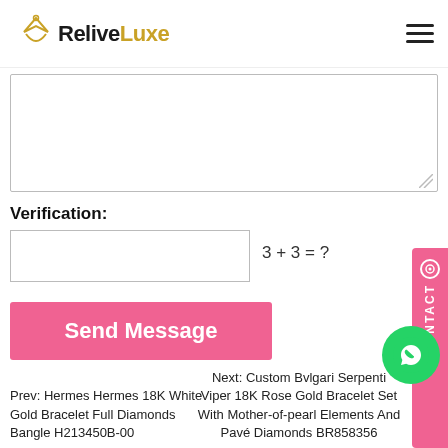ReliveLuxe
[Figure (other): Textarea input box for message entry]
Verification:
[Figure (other): Text input box for verification answer]
3 + 3 = ?
[Figure (other): Send Message button (pink)]
[Figure (other): Pink CONTACT sidebar tab on right edge]
[Figure (other): WhatsApp green circle button]
Prev: Hermes Hermes 18K White Gold Bracelet Full Diamonds Bangle H213450B-00
Next: Custom Bvlgari Serpenti Viper 18K Rose Gold Bracelet Set With Mother-of-pearl Elements And Pavé Diamonds BR858356